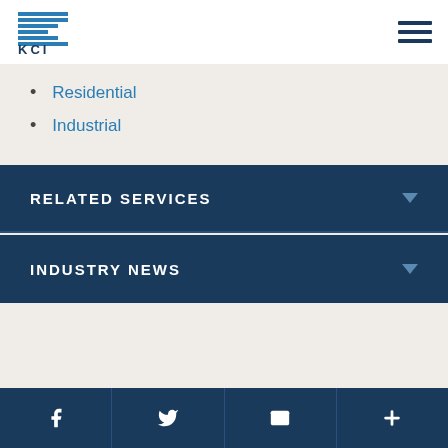KCI logo and navigation
Residential
Industrial
RELATED SERVICES
INDUSTRY NEWS
Related Media
Facebook, Twitter, Email, More social/share links